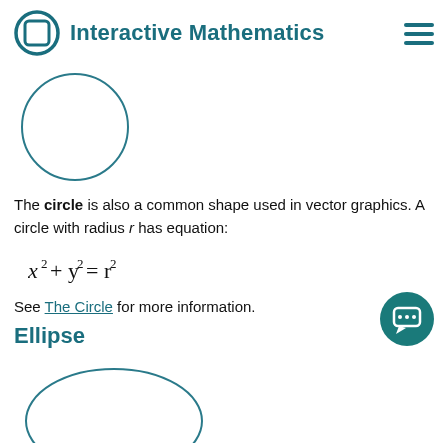Interactive Mathematics
[Figure (illustration): A circle outline drawn with a thin teal/dark stroke, no fill, roughly 105px diameter]
The circle is also a common shape used in vector graphics. A circle with radius r has equation:
See The Circle for more information.
Ellipse
[Figure (illustration): An ellipse outline drawn with a thin teal/dark stroke, no fill, wider than tall, partially cut off at bottom]